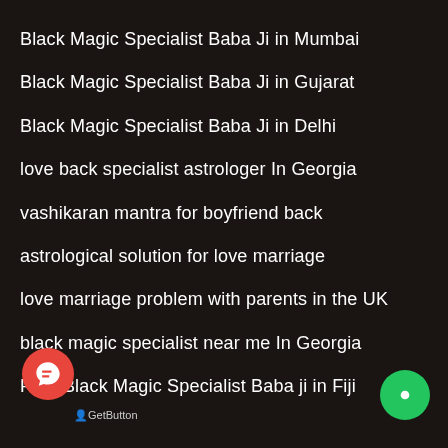Black Magic Specialist Baba Ji in Mumbai
Black Magic Specialist Baba Ji in Gujarat
Black Magic Specialist Baba Ji in Delhi
love back specialist astrologer In Georgia
vashikaran mantra for boyfriend back
astrological solution for love marriage
love marriage problem with parents in the UK
black magic specialist near me In Georgia
Free Black Magic Specialist Baba ji in Fiji
GetButton